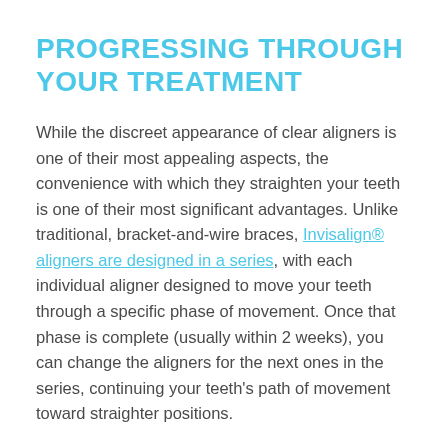PROGRESSING THROUGH YOUR TREATMENT
While the discreet appearance of clear aligners is one of their most appealing aspects, the convenience with which they straighten your teeth is one of their most significant advantages. Unlike traditional, bracket-and-wire braces, Invisalign® aligners are designed in a series, with each individual aligner designed to move your teeth through a specific phase of movement. Once that phase is complete (usually within 2 weeks), you can change the aligners for the next ones in the series, continuing your teeth's path of movement toward straighter positions.